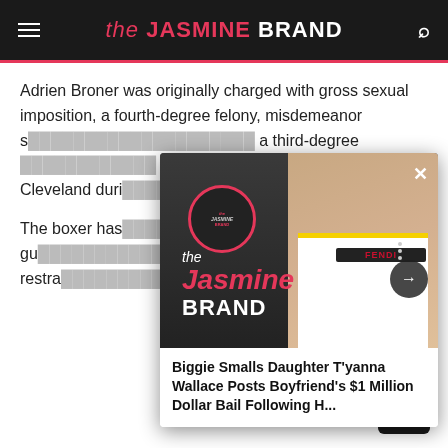the JASMINE BRAND
Adrien Broner was originally charged with gross sexual imposition, a fourth-degree felony, misdemeanor s[...] a third-degree [...] accused him o[...] Cleveland duri[...]
The boxer has[...] he pleaded gu[...] unlawful restra[...]
[Figure (screenshot): Popup overlay showing the Jasmine Brand logo and a photo of a woman wearing a Fendi shirt, with navigation arrows and a close button]
Biggie Smalls Daughter T'yanna Wallace Posts Boyfriend's $1 Million Dollar Bail Following H...